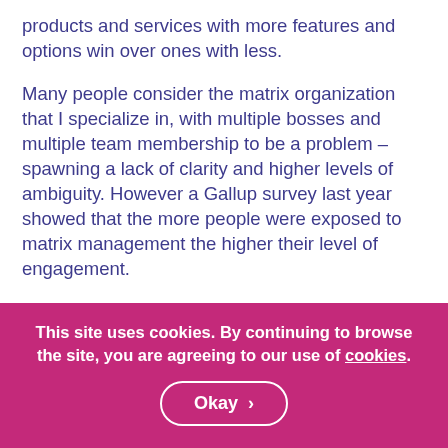products and services with more features and options win over ones with less.
Many people consider the matrix organization that I specialize in, with multiple bosses and multiple team membership to be a problem – spawning a lack of clarity and higher levels of ambiguity. However a Gallup survey last year showed that the more people were exposed to matrix management the higher their level of engagement.
If roles are not as clear, it gives people more scope for ownership and autonomy. If hierarchy is undermined, it means less recourse to traditional authority and it requires leaders to consult and influence more.
This site uses cookies. By continuing to browse the site, you are agreeing to our use of cookies. Okay >